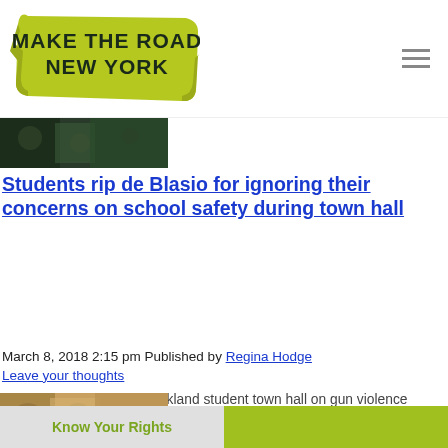[Figure (logo): Make The Road New York logo — green banner/ribbon shape with dark text]
[Figure (photo): Partial photo of crowd of students]
Students rip de Blasio for ignoring their concerns on school safety during town hall
March 8, 2018 2:15 pm Published by Regina Hodge
Leave your thoughts
Mayor de Blasio’s post-Parkland student town hall on gun violence turned into a referendum on the city’s school safety agents...
[Figure (photo): Partial photo of people at a formal event or press conference]
Know Your Rights